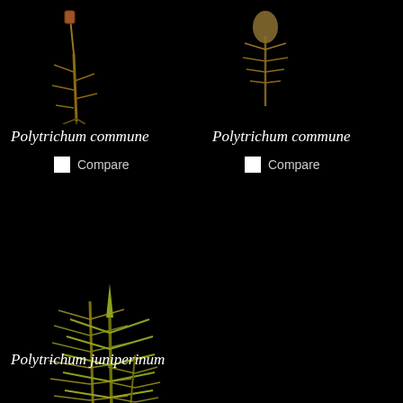[Figure (photo): Photo of Polytrichum commune moss specimen, top left, brown/golden dried upright stem with small sporophyte, against black background]
Polytrichum commune
Compare
[Figure (photo): Photo of Polytrichum commune moss specimen, top right, showing a small green-brown leafy shoot against black background]
Polytrichum commune
Compare
[Figure (photo): Photo of Polytrichum juniperinum moss, large green and yellow-green multi-stemmed leafy shoots against black background]
Polytrichum juniperinum